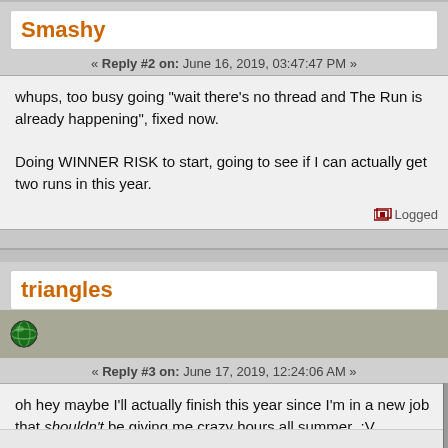Smashy
« Reply #2 on: June 16, 2019, 03:47:47 PM »
whups, too busy going "wait there's no thread and The Run is already happening", fixed now.

Doing WINNER RISK to start, going to see if I can actually get two runs in this year.
Logged
triangles
« Reply #3 on: June 17, 2019, 12:24:06 AM »
oh hey maybe I'll actually finish this year since I'm in a new job that shouldn't be giving me crazy hours all summer  :V

As for my run type....